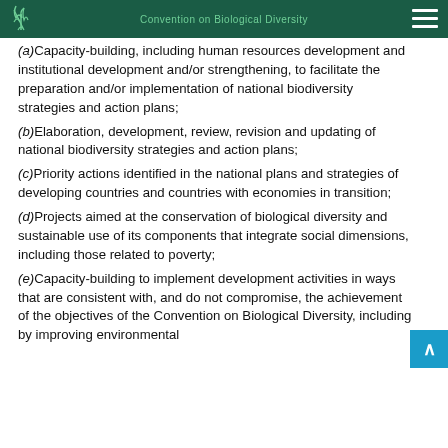Convention on Biological Diversity
(a)Capacity-building, including human resources development and institutional development and/or strengthening, to facilitate the preparation and/or implementation of national biodiversity strategies and action plans;
(b)Elaboration, development, review, revision and updating of national biodiversity strategies and action plans;
(c)Priority actions identified in the national plans and strategies of developing countries and countries with economies in transition;
(d)Projects aimed at the conservation of biological diversity and sustainable use of its components that integrate social dimensions, including those related to poverty;
(e)Capacity-building to implement development activities in ways that are consistent with, and do not compromise, the achievement of the objectives of the Convention on Biological Diversity, including by improving environmental